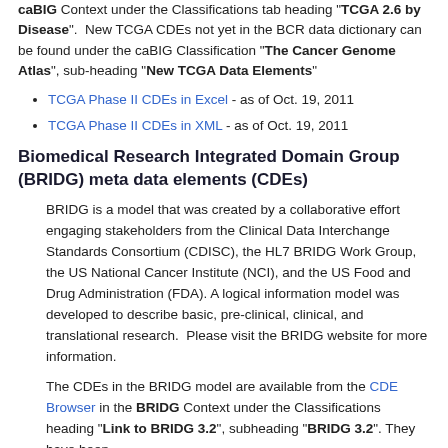caBIG Context under the Classifications tab heading "TCGA 2.6 by Disease". New TCGA CDEs not yet in the BCR data dictionary can be found under the caBIG Classification "The Cancer Genome Atlas", sub-heading "New TCGA Data Elements"
TCGA Phase II CDEs in Excel - as of Oct. 19, 2011
TCGA Phase II CDEs in XML - as of Oct. 19, 2011
Biomedical Research Integrated Domain Group (BRIDG) meta data elements (CDEs)
BRIDG is a model that was created by a collaborative effort engaging stakeholders from the Clinical Data Interchange Standards Consortium (CDISC), the HL7 BRIDG Work Group, the US National Cancer Institute (NCI), and the US Food and Drug Administration (FDA). A logical information model was developed to describe basic, pre-clinical, clinical, and translational research. Please visit the BRIDG website for more information.
The CDEs in the BRIDG model are available from the CDE Browser in the BRIDG Context under the Classifications heading "Link to BRIDG 3.2", subheading "BRIDG 3.2". They have been